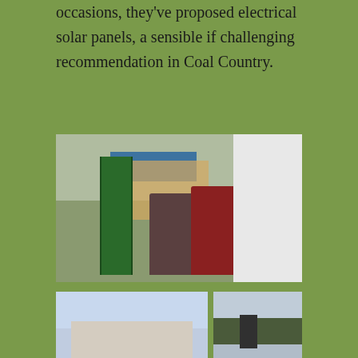occasions, they've proposed electrical solar panels, a sensible if challenging recommendation in Coal Country.
[Figure (photo): Two people working outdoors near a building under construction. One person in a maroon shirt stands on scaffolding or a ladder, working on the side of a white building. Another person stands nearby. A green step ladder is visible on the left. Wooden scaffolding and a blue tarp are in the background. Trees are visible in the far background.]
[Figure (photo): A single-story house with a light-colored exterior, photographed from the front. The sky is overcast.]
[Figure (photo): A person standing outdoors near bare winter trees, viewed from a distance.]